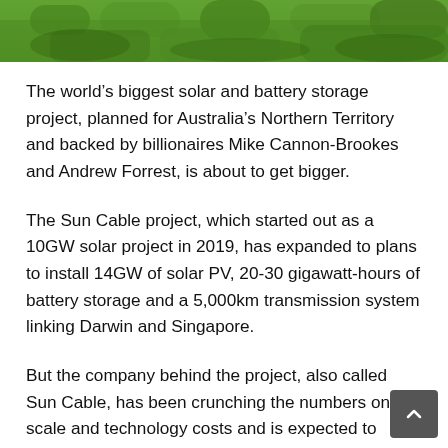[Figure (photo): Top portion of a grassy green field photo, cropped to a narrow horizontal strip at the top of the page.]
The world’s biggest solar and battery storage project, planned for Australia’s Northern Territory and backed by billionaires Mike Cannon-Brookes and Andrew Forrest, is about to get bigger.
The Sun Cable project, which started out as a 10GW solar project in 2019, has expanded to plans to install 14GW of solar PV, 20-30 gigawatt-hours of battery storage and a 5,000km transmission system linking Darwin and Singapore.
But the company behind the project, also called Sun Cable, has been crunching the numbers on scale and technology costs and is expected to